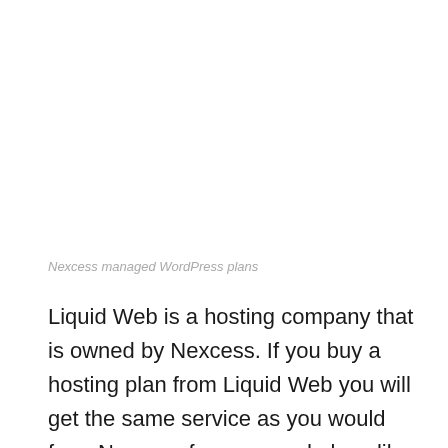Nexcess managed WordPress plans
Liquid Web is a hosting company that is owned by Nexcess. If you buy a hosting plan from Liquid Web you will get the same service as you would from Nexcess for managed plans like woocommerce, magneto, drupal so on...